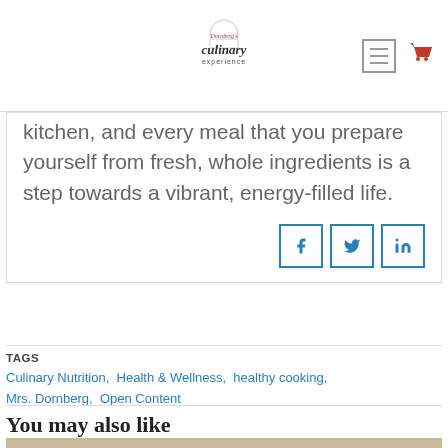Dornberg's Culinary Experience
kitchen, and every meal that you prepare yourself from fresh, whole ingredients is a step towards a vibrant, energy-filled life.
Social share buttons: Facebook, Twitter, LinkedIn
TAGS
Culinary Nutrition, Health & Wellness, healthy cooking, Mrs. Dornberg, Open Content
You may also like
[Figure (photo): Food photo showing oats or grains, partial view at bottom of page]